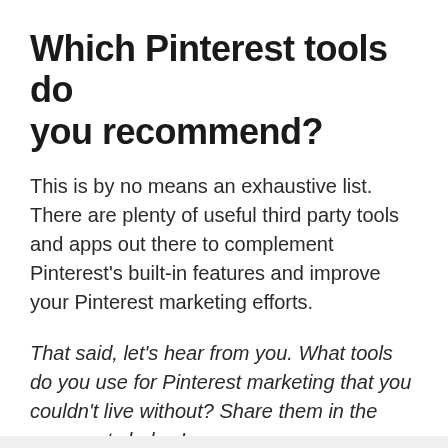Which Pinterest tools do you recommend?
This is by no means an exhaustive list. There are plenty of useful third party tools and apps out there to complement Pinterest's built-in features and improve your Pinterest marketing efforts.
That said, let's hear from you. What tools do you use for Pinterest marketing that you couldn't live without? Share them in the comments below!